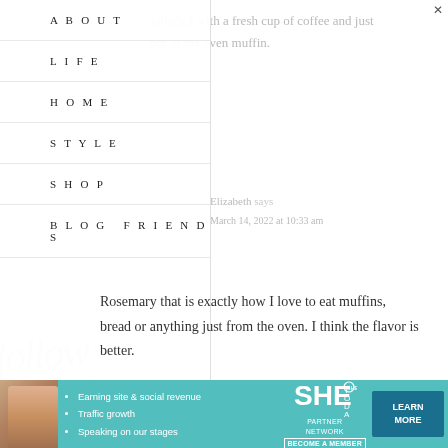satisfied with a fresh cup of coffee and just out of the oven muffin.
ABOUT
LIFE
HOME
STYLE
SHOP
BLOG FRIENDS
Elizabeth says
March 14, 2022 at 10:33 am
Rosemary that is exactly how I love to eat muffins, bread or anything just from the oven. I think the flavor is better.
Reply
[Figure (infographic): SHE Partner Network advertisement banner with photo, bullet points, logo, and Learn More button]